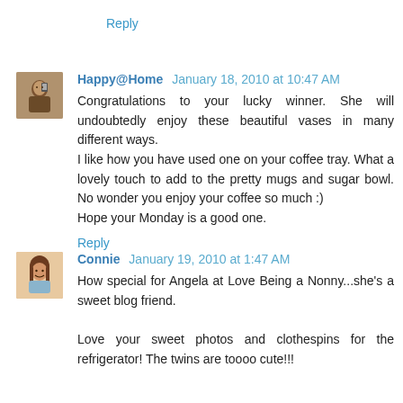Reply
[Figure (photo): Small avatar photo of a woman taking a selfie]
Happy@Home January 18, 2010 at 10:47 AM
Congratulations to your lucky winner. She will undoubtedly enjoy these beautiful vases in many different ways.
I like how you have used one on your coffee tray. What a lovely touch to add to the pretty mugs and sugar bowl. No wonder you enjoy your coffee so much :)
Hope your Monday is a good one.
Reply
[Figure (photo): Small avatar photo of a smiling woman with brown hair]
Connie January 19, 2010 at 1:47 AM
How special for Angela at Love Being a Nonny...she's a sweet blog friend.

Love your sweet photos and clothespins for the refrigerator! The twins are toooo cute!!!